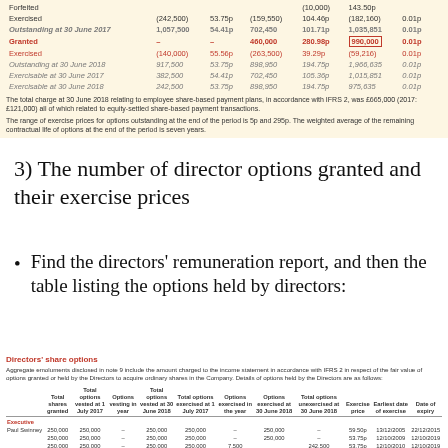|  | Total shares granted | Total options vested at 1 July 2017 | Options vesting in year | Total options vested at 30 June 2018 | Total options exercised at 1 July 2017 | Options exercised in the year | Options exercised at 30 June 2018 | Total options unexercised at 30 June 2018 | Exercise price | Earliest date of exercise | Date of expiry |
| --- | --- | --- | --- | --- | --- | --- | --- | --- | --- | --- | --- |
| Forfeited |  |  |  | (10,000) | 143.50p |  |  |
| Exercised | (242,500) | 53.75p | (159,550) | 104.46p | (182,160) | 0.01p |
| Outstanding at 30 June 2017 | 1,057,500 | 54.41p | 702,450 | 101.71p | 1,035,851 | 0.01p |
| Granted | – | – | 460,000 | 280.98p | 990,000 | 0.01p |
| Exercised | (140,000) | 55.56p | (263,500) | 39.29p | (59,216) | 0.01p |
| Outstanding at 30 June 2018 | 917,500 | 53.75p | 898,950 | 194.75p | 1,966,635 | 0.01p |
| Exercisable at 30 June 2017 | 382,500 | 54.41p | 702,450 | 105.36p | 1,015,851 | 0.01p |
| Exercisable at 30 June 2018 | 242,500 | 53.75p | 898,950 | 194.75p | 975,635 | 0.01p |
The total charge at 30 June 2018 relating to employee share-based payment plans, in accordance with IFRS 2, was £665,000 (2017: £121,000) all of which related to equity-settled share-based payment transactions.
The range of exercise prices for options outstanding at the end of the period is 5p and 295p. The weighted average of the remaining contractual life of options at the end of the period is seven years.
3) The number of director options granted and their exercise prices
Find the directors' remuneration report, and then the table listing the options held by directors:
Directors' share options
Aggregate emoluments disclosed in note 9 include the amount charged to the income statement in accordance with IFRS 2 in respect of the fair value of options granted or held by the Directors to acquire ordinary shares in the Company. Details of options held by the Directors are as follows:
|  | Total shares granted | Total options vested at 1 July 2017 | Options vesting in year | Total options vested at 30 June 2018 | Total options exercised at 1 July 2017 | Options exercised in the year | Options exercised at 30 June 2018 | Total options unexercised at 30 June 2018 | Exercise price | Earliest date of exercise | Date of expiry |
| --- | --- | --- | --- | --- | --- | --- | --- | --- | --- | --- | --- |
| Executive |  |  |  |  |  |  |  |  |  |  |  |
| Paul Swinney | 250,000 | 250,000 | – | 250,000 | 250,000 | – | 250,000 | – | 59.50p | 13/12/2005 | 22/12/2015 |
|  | 250,000 | 250,000 | – | 250,000 | 250,000 | – | 250,000 | – | 53.75p | 12/10/2009 | 12/10/2019 |
|  | 250,000 | 250,000 | – | 250,000 | 250,000 | 7,500 |  | 242,500 | 53.75p | 12/10/2010 | 12/10/2019 |